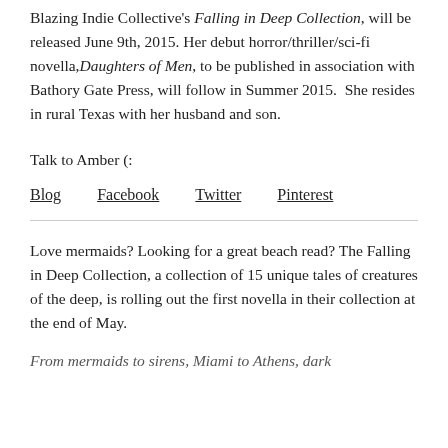Blazing Indie Collective's Falling in Deep Collection, will be released June 9th, 2015. Her debut horror/thriller/sci-fi novella,Daughters of Men, to be published in association with Bathory Gate Press, will follow in Summer 2015. She resides in rural Texas with her husband and son.
Talk to Amber (:
Blog   Facebook   Twitter   Pinterest
Love mermaids? Looking for a great beach read? The Falling in Deep Collection, a collection of 15 unique tales of creatures of the deep, is rolling out the first novella in their collection at the end of May.
From mermaids to sirens, Miami to Athens, dark